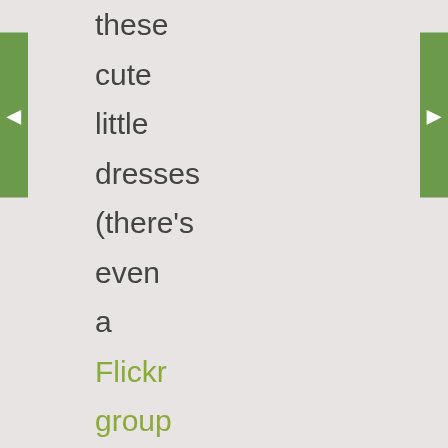these cute little dresses (there's even a Flickr group for them!) and I knew I had to try making one. I